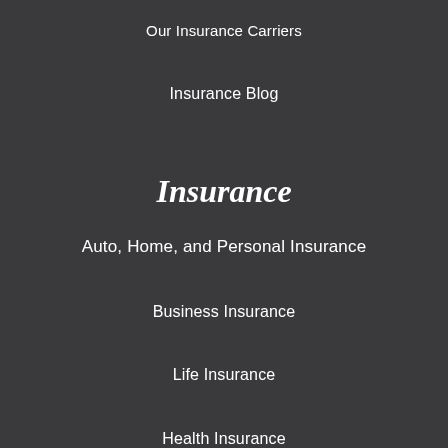Our Insurance Carriers
Insurance Blog
Insurance
Auto, Home, and Personal Insurance
Business Insurance
Life Insurance
Health Insurance